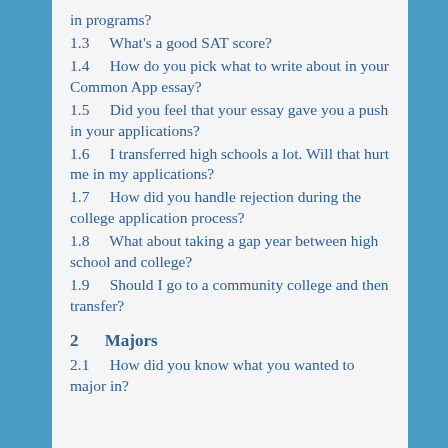in programs?
1.3   What's a good SAT score?
1.4   How do you pick what to write about in your Common App essay?
1.5   Did you feel that your essay gave you a push in your applications?
1.6   I transferred high schools a lot. Will that hurt me in my applications?
1.7   How did you handle rejection during the college application process?
1.8   What about taking a gap year between high school and college?
1.9   Should I go to a community college and then transfer?
2   Majors
2.1   How did you know what you wanted to major in?